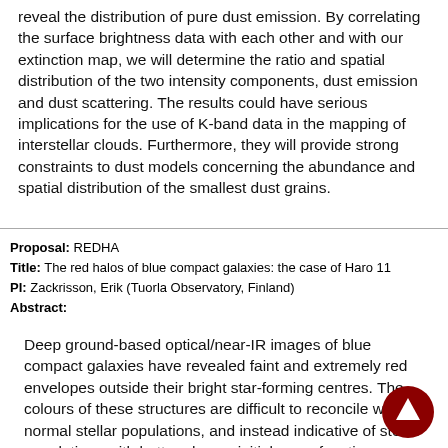reveal the distribution of pure dust emission. By correlating the surface brightness data with each other and with our extinction map, we will determine the ratio and spatial distribution of the two intensity components, dust emission and dust scattering. The results could have serious implications for the use of K-band data in the mapping of interstellar clouds. Furthermore, they will provide strong constraints to dust models concerning the abundance and spatial distribution of the smallest dust grains.
Proposal: REDHA
Title: The red halos of blue compact galaxies: the case of Haro 11
PI: Zackrisson, Erik (Tuorla Observatory, Finland)
Abstract:
Deep ground-based optical/near-IR images of blue compact galaxies have revealed faint and extremely red envelopes outside their bright star-forming centres. The colours of these structures are difficult to reconcile with normal stellar populations, and instead indicative of stellar populations with bottom-heavy initial mass functions. These red halos do, however, remain controversial due to the immense problems of accurately measuring the near-IR flux at the very...